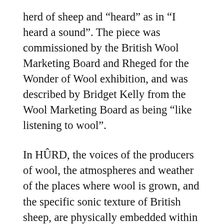herd of sheep and “heard” as in “I heard a sound”. The piece was commissioned by the British Wool Marketing Board and Rheged for the Wonder of Wool exhibition, and was described by Bridget Kelly from the Wool Marketing Board as being “like listening to wool”.
In HÛRD, the voices of the producers of wool, the atmospheres and weather of the places where wool is grown, and the specific sonic texture of British sheep, are physically embedded within woollen, knitted fabric. This is achieved by covering 32 miniature speakers with 100% wool, British, hand-knitted yarn, and then playing field-recordings related to